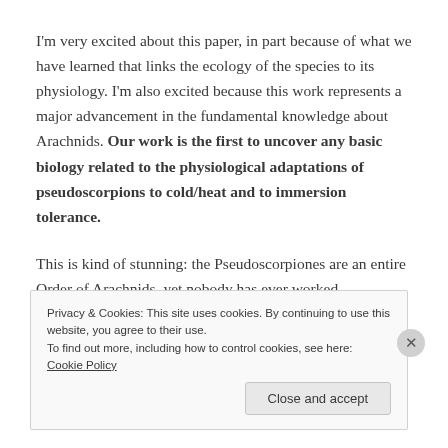I'm very excited about this paper, in part because of what we have learned that links the ecology of the species to its physiology. I'm also excited because this work represents a major advancement in the fundamental knowledge about Arachnids. Our work is the first to uncover any basic biology related to the physiological adaptations of pseudoscorpions to cold/heat and to immersion tolerance.
This is kind of stunning: the Pseudoscorpiones are an entire Order of Arachnids, yet nobody has ever worked
Privacy & Cookies: This site uses cookies. By continuing to use this website, you agree to their use.
To find out more, including how to control cookies, see here: Cookie Policy